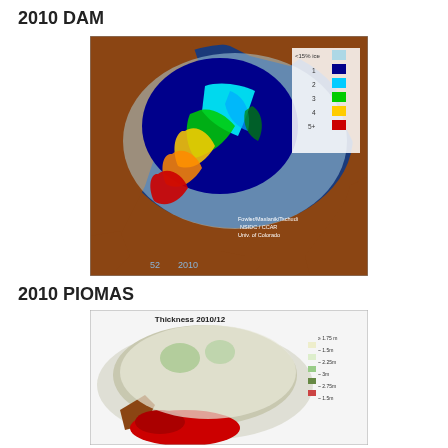2010 DAM
[Figure (map): Arctic sea ice age map for 2010, showing ice age categories from <15% ice (light blue) to 5+ years (red), color-coded with blue, cyan, green, yellow, orange, red. Attribution: Fowler/Maslanik/Tschudi, NSIDC / CCAR, Univ. of Colorado. Label: 52 2010.]
2010 PIOMAS
[Figure (map): Arctic sea ice thickness map for 2010/12 (PIOMAS model), showing thickness in meters with a color scale from approximately 0.5m to 4.5m+. Colors range from white/light (thin) to red (thick).]